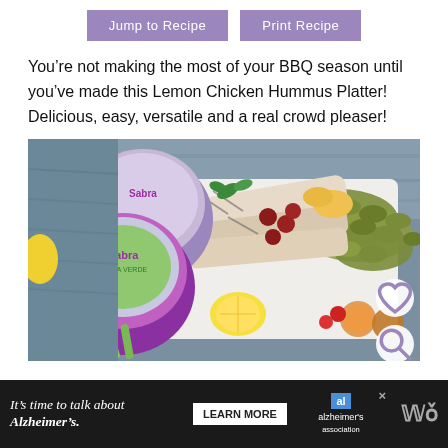Jump to Recipe | Print Recipe
You’re not making the most of your BBQ season until you’ve made this Lemon Chicken Hummus Platter! Delicious, easy, versatile and a real crowd pleaser!
[Figure (photo): A food platter photo showing Sabra hummus containers (including Salsa Verde variety), grilled chicken slices, olives, cherries, lemon halves, celery, mint, and other accompaniments on a rustic wooden surface. A heart icon and search icon appear in the bottom right corner overlaid on the photo.]
It’s time to talk about Alzheimer’s. LEARN MORE